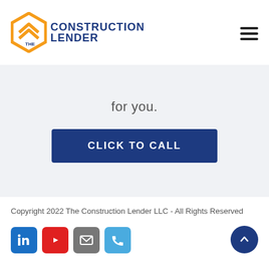[Figure (logo): The Construction Lender logo with orange chevron/diamond shape icon and dark blue text reading CONSTRUCTION LENDER]
for you.
CLICK TO CALL
Copyright 2022 The Construction Lender LLC - All Rights Reserved
[Figure (infographic): Social media icons row: LinkedIn (blue), YouTube (red), Email (gray), Phone (light blue); plus a dark blue circular scroll-to-top button on the right]